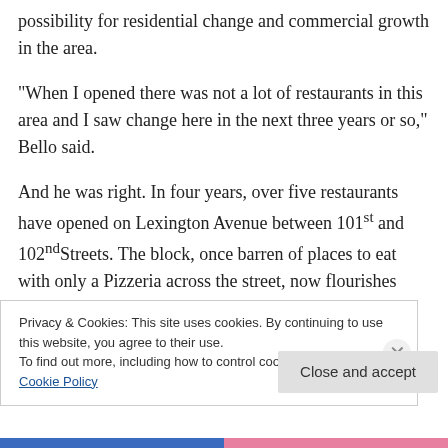possibility for residential change and commercial growth in the area.
“When I opened there was not a lot of restaurants in this area and I saw change here in the next three years or so,” Bello said.
And he was right. In four years, over five restaurants have opened on Lexington Avenue between 101st and 102nd Streets. The block, once barren of places to eat with only a Pizzeria across the street, now flourishes with new restaurants from Jov Burger to a coffee shop that will open
Privacy & Cookies: This site uses cookies. By continuing to use this website, you agree to their use.
To find out more, including how to control cookies, see here: Cookie Policy
Close and accept